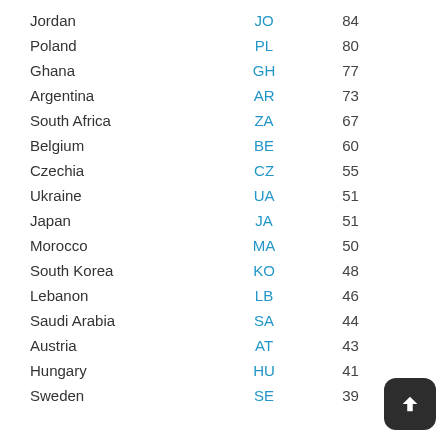| Country | Code | Number |
| --- | --- | --- |
| Jordan | JO | 84 |
| Poland | PL | 80 |
| Ghana | GH | 77 |
| Argentina | AR | 73 |
| South Africa | ZA | 67 |
| Belgium | BE | 60 |
| Czechia | CZ | 55 |
| Ukraine | UA | 51 |
| Japan | JA | 51 |
| Morocco | MA | 50 |
| South Korea | KO | 48 |
| Lebanon | LB | 46 |
| Saudi Arabia | SA | 44 |
| Austria | AT | 43 |
| Hungary | HU | 41 |
| Sweden | SE | 39 |